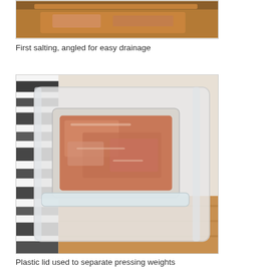[Figure (photo): Photo of meat being salted and angled for drainage in a container, partially visible at top of page]
First salting, angled for easy drainage
[Figure (photo): Photo of meat in a clear plastic container with a plastic lid used to separate pressing weights, with a zebra-print background visible]
Plastic lid used to separate pressing weights